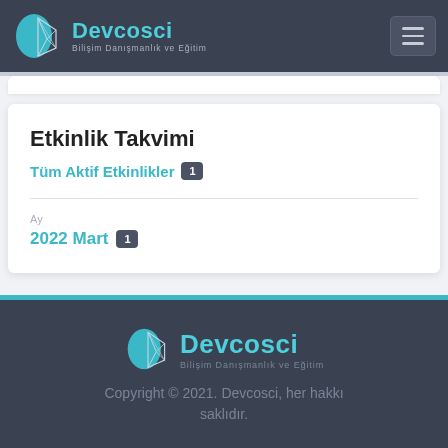[Figure (logo): Devcosci logo in navigation bar - teal brain icon with 'Devcosci' text and subtitle 'Bilişim Danışmanlık ve Eğitim']
Etkinlik Takvimi
Tüm Aktif Etkinlikler 1
2022 Mart 1
[Figure (logo): Devcosci logo in footer - teal brain icon with 'Devcosci' text and subtitle 'Bilişim Danışmanlık ve Eğitim']
Copyright © 2021. Devcosci, her hakkı saklıdır.